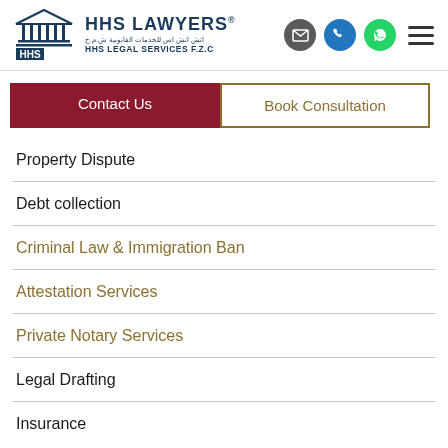[Figure (logo): HHS Lawyers logo with courthouse/columns graphic, HHS text in navy, 'HHS LAWYERS' in large navy bold text with registered trademark, Arabic text below, 'HHS LEGAL SERVICES F.Z.C' in navy]
Contact Us
Book Consultation
Property Dispute
Debt collection
Criminal Law & Immigration Ban
Attestation Services
Private Notary Services
Legal Drafting
Insurance